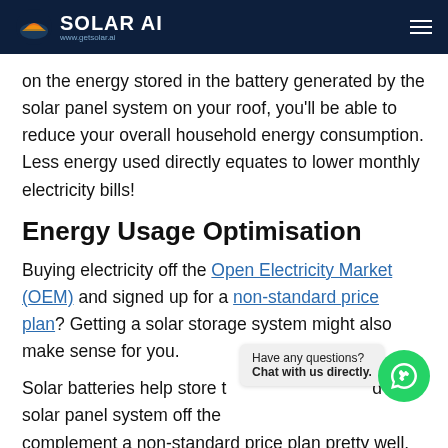SOLAR AI www.getsolar.ai
on the energy stored in the battery generated by the solar panel system on your roof, you'll be able to reduce your overall household energy consumption. Less energy used directly equates to lower monthly electricity bills!
Energy Usage Optimisation
Buying electricity off the Open Electricity Market (OEM) and signed up for a non-standard price plan? Getting a solar storage system might also make sense for you.
Solar batteries help store t d r solar panel system off the complement a non-standard price plan pretty well. This